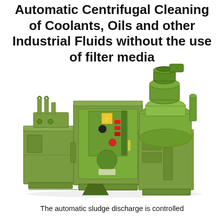Automatic Centrifugal Cleaning of Coolants, Oils and other Industrial Fluids without the use of filter media
[Figure (photo): Photograph of a large green industrial automatic centrifugal cleaning machine for coolants, oils, and industrial fluids. The machine consists of multiple green metal cabinet sections: a left section with pipe fittings and valves, a central tall cabinet with an electrical control panel (yellow lightning bolt warning symbol, red indicator lights), and a right section with a large cylindrical centrifuge unit on top. The machine sits on a factory floor.]
The automatic sludge discharge is controlled